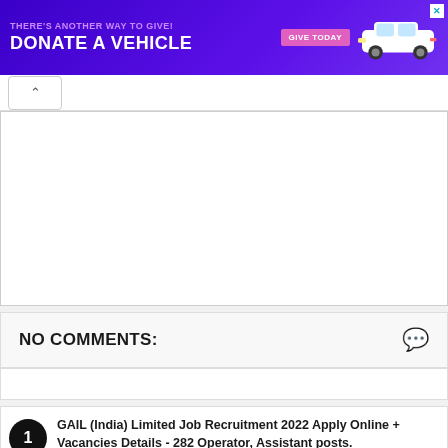[Figure (infographic): Purple advertisement banner: 'THERE'S ANOTHER WAY TO GIVE! DONATE A VEHICLE' with GIVE TODAY button and white car illustration, close X button]
NO COMMENTS:
GAIL (India) Limited Job Recruitment 2022 Apply Online + Vacancies Details - 282 Operator, Assistant posts.
GAIL (India) Limited (GAIL) Job Notification 2022-2023. -